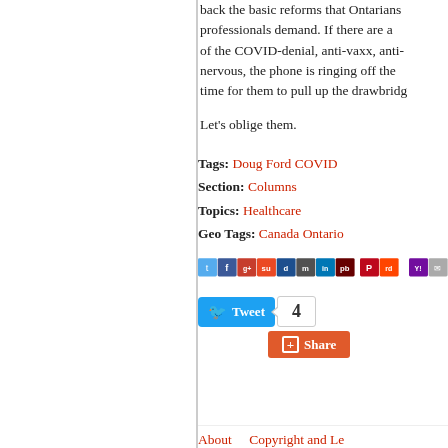back the basic reforms that Ontarians and professionals demand. If there are any of the COVID-denial, anti-vaxx, anti-m nervous, the phone is ringing off the time for them to pull up the drawbridg
Let’s oblige them.
Tags: Doug Ford COVID
Section: Columns
Topics: Healthcare
Geo Tags: Canada Ontario
[Figure (other): Row of social media sharing icons including Twitter, Facebook, Google+, StumbleUpon, Digg, Mix, LinkedIn, Pinboard, Pinterest, Reddit, Yahoo, and Email]
[Figure (infographic): Twitter Tweet button with count bubble showing 4, and a Google+1 Share button below]
About   Copyright and Le